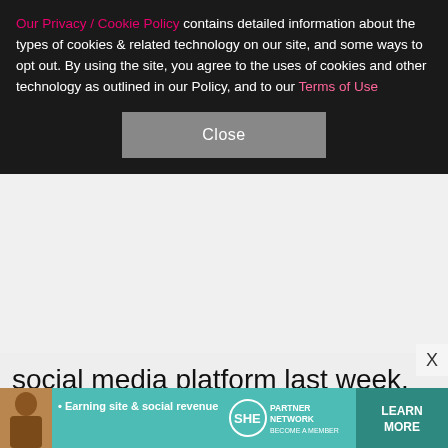Our Privacy / Cookie Policy contains detailed information about the types of cookies & related technology on our site, and some ways to opt out. By using the site, you agree to the uses of cookies and other technology as outlined in our Policy, and to our Terms of Use
Close
social media platform last week.
[Figure (photo): Two people posing in front of a CÎROC Ultra Premium Vodka branded backdrop. A woman in a blue patterned outfit on the left and a man in a dark burgundy/black tuxedo with bow tie on the right.]
[Figure (infographic): SHE Partner Network advertisement banner with teal background. Text reads '• Earning site & social revenue' with SHE logo and 'PARTNER NETWORK BECOME A MEMBER' text, and a 'LEARN MORE' button.]